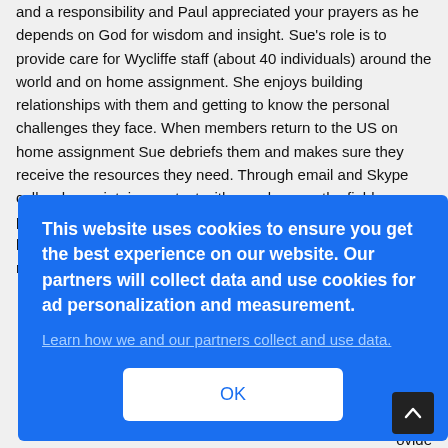and a responsibility and Paul appreciated your prayers as he depends on God for wisdom and insight. Sue's role is to provide care for Wycliffe staff (about 40 individuals) around the world and on home assignment. She enjoys building relationships with them and getting to know the personal challenges they face. When members return to the US on home assignment Sue debriefs them and makes sure they receive the resources they need. Through email and Skype calls, she maintains contact with members on the field, providing help and encouragement so they can thrive in their lives and ministries. Several individuals and families will be returning in the next couple months, so it will be a busy ...June ...e ...l's ...fts of ...as ...ovide
This website uses cookies to ensure you get the best experience on our website. Our partners will collect data and use cookies for ad personalization and measurement. Learn how we and our partners collect and use data.
OK